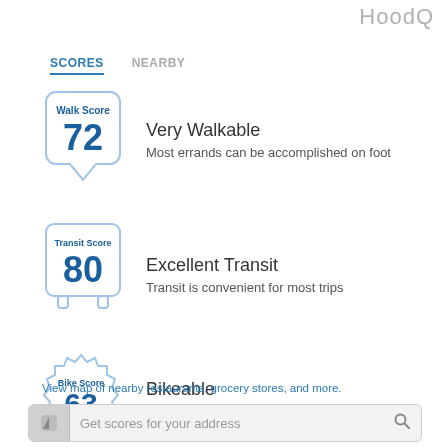HoodQ
SCORES   NEARBY
[Figure (infographic): Walk Score badge showing score of 72]
Very Walkable
Most errands can be accomplished on foot
[Figure (infographic): Transit Score badge showing score of 80]
Excellent Transit
Transit is convenient for most trips
[Figure (infographic): Bike Score badge showing score of 63]
Bikeable
Some bike infrastructure
View map of nearby restaurants, grocery stores, and more.
Get scores for your address